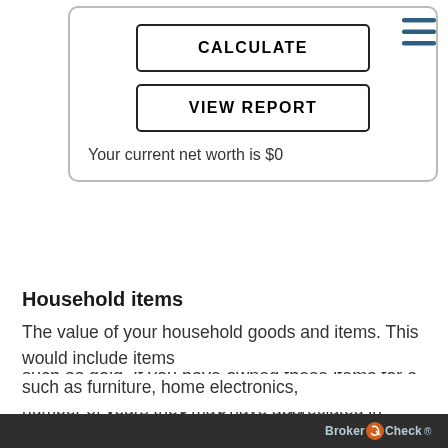[Figure (screenshot): Popup overlay with CALCULATE and VIEW REPORT buttons, showing 'Your current net worth is $0']
[Figure (illustration): Hamburger menu icon (three horizontal lines) in top right corner]
s, such les,
Jewelry
The value of any jewelry, gems or precious metals such as gold. If you have owned these items for a number of years they may have appreciated in price, so remember to use the current market value.
Household items
The value of your household goods and items. This would include items such as furniture, home electronics,
BrokerCheck